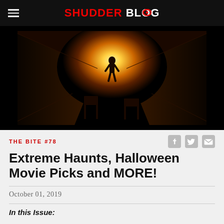SHUDDER BLOG
[Figure (photo): Dark hotel hallway with a silhouetted figure walking toward a bright orange/golden glowing light at the end. Two chairs are visible in the foreground, and the corridor has a moody, ominous atmosphere.]
THE BITE #78
Extreme Haunts, Halloween Movie Picks and MORE!
October 01, 2019
In this Issue: